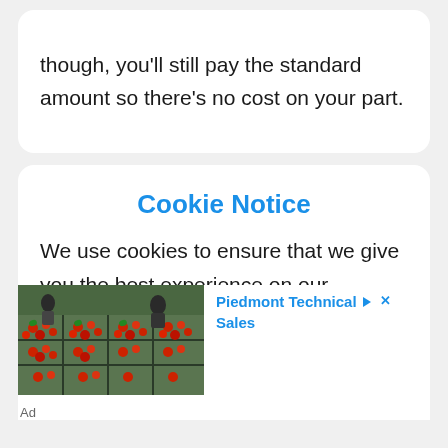though, you'll still pay the standard amount so there's no cost on your part.
Cookie Notice
We use cookies to ensure that we give you the best experience on our website. If you continue to use this site we will assume that you are OK with it. Please see our Privacy
[Figure (photo): Photo of workers sorting strawberries or red berries in trays on a conveyor or table]
Piedmont Technical Sales
Ad